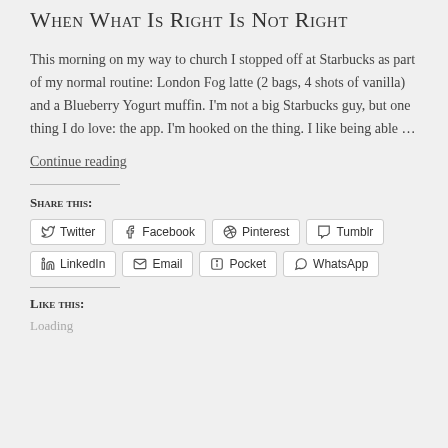When What Is Right Is Not Right
This morning on my way to church I stopped off at Starbucks as part of my normal routine: London Fog latte (2 bags, 4 shots of vanilla) and a Blueberry Yogurt muffin. I'm not a big Starbucks guy, but one thing I do love: the app. I'm hooked on the thing. I like being able …
Continue reading
Share this:
Twitter  Facebook  Pinterest  Tumblr  LinkedIn  Email  Pocket  WhatsApp
Like this:
Loading